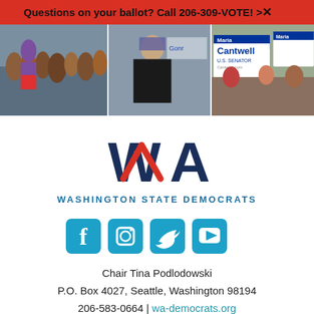Questions on your ballot? Call 206-309-VOTE! >×
[Figure (photo): Three-panel photo strip showing political campaign events with supporters, a person in black jacket, and Maria Cantwell U.S. Senator campaign signs]
[Figure (logo): Washington State Democrats logo with WA letters (blue W and red A with checkmark) and text WASHINGTON STATE DEMOCRATS]
[Figure (infographic): Social media icons: Facebook, Instagram, Twitter, YouTube in teal/blue color]
Chair Tina Podlodowski
P.O. Box 4027, Seattle, Washington 98194
206-583-0664 | wa-democrats.org
Paid for by the Washington State Democratic Party. Not